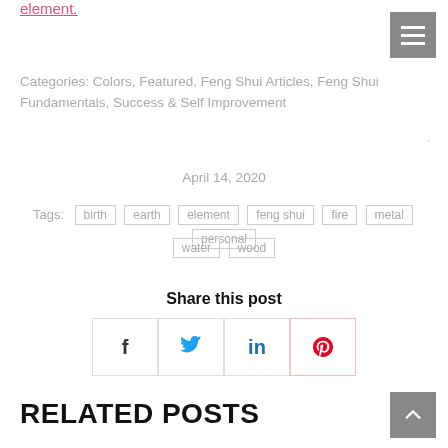element.
Categories: Colors, Featured, Feng Shui Articles, Feng Shui Fundamentals, Success & Self Improvement
April 14, 2020
Tags: birth earth element feng shui fire metal personal water wood
Share this post
RELATED POSTS